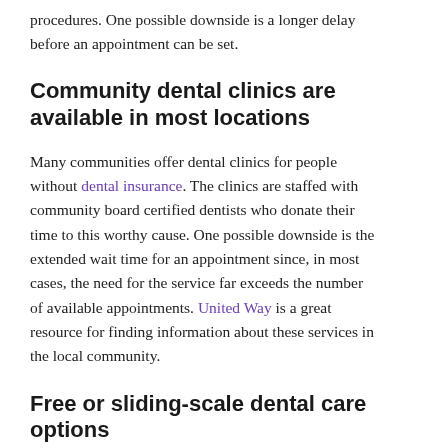procedures. One possible downside is a longer delay before an appointment can be set.
Community dental clinics are available in most locations
Many communities offer dental clinics for people without dental insurance. The clinics are staffed with community board certified dentists who donate their time to this worthy cause. One possible downside is the extended wait time for an appointment since, in most cases, the need for the service far exceeds the number of available appointments. United Way is a great resource for finding information about these services in the local community.
Free or sliding-scale dental care options
Some faith-based or charitable organizations offer free or